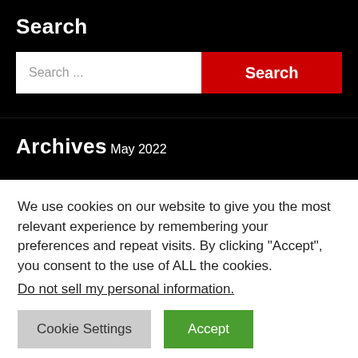Search
[Figure (screenshot): Search input bar with placeholder text 'Search ...' and a red 'Search' button]
Archives
May 2022
We use cookies on our website to give you the most relevant experience by remembering your preferences and repeat visits. By clicking “Accept”, you consent to the use of ALL the cookies.
Do not sell my personal information.
[Figure (screenshot): Two buttons: grey 'Cookie Settings' button and green 'Accept' button]